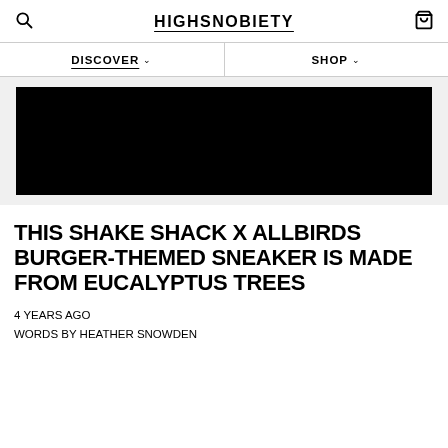HIGHSNOBIETY
DISCOVER  SHOP
[Figure (photo): Black rectangular hero image placeholder]
THIS SHAKE SHACK X ALLBIRDS BURGER-THEMED SNEAKER IS MADE FROM EUCALYPTUS TREES
4 YEARS AGO
WORDS BY HEATHER SNOWDEN